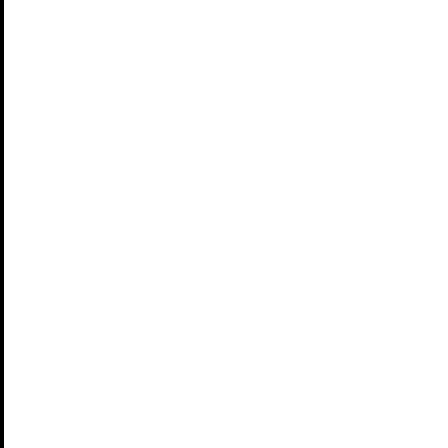York and the Kimberley.
But I am extremely concerned - no, appalled,  to hear o
seriously suggesting that spinifex should be fired in o
chance of "ticking" a Night Parrot, or anything else.
indigenous people's land to see a Princess Parrot, as h
ago.
My personal opinion is that far too much effort is spen
and building life-lists.  If the same effort was put in
life-histories of even common birds, we would know very
do.
Certainly atlassing has greatly built up our knowledge
and migration, and Twitchathons etc. have provided a gr
those energetic enough to do it - so has digital photog
foremost, please let us consider the birds.

Anthea Fleming
<HR>
<BR> Birding-Aus mailing list
<BR> Birding-Aus@birding-aus.org
<BR> To change settings or unsubscribe visit:
<BR> http://birding-aus.org/mailman/listinfo/birding-au
</HR>
<HR>
<BR> Birding-Aus mailing list
<BR> Birding-Aus@birding-aus.org
<BR> To change settings or unsubscribe visit: